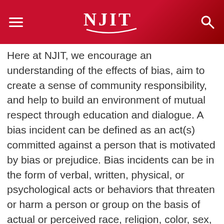NJIT
Here at NJIT, we encourage an understanding of the effects of bias, aim to create a sense of community responsibility, and help to build an environment of mutual respect through education and dialogue. A bias incident can be defined as an act(s) committed against a person that is motivated by bias or prejudice. Bias incidents can be in the form of verbal, written, physical, or psychological acts or behaviors that threaten or harm a person or group on the basis of actual or perceived race, religion, color, sex, age, sexual orientation, gender identity or expression, national origin, ancestry, disability, marital status, civil union status, domestic partnership status, atypical heredity or cellular blood trait, military service or veteran status. To submit an incident involving bias, please click on the